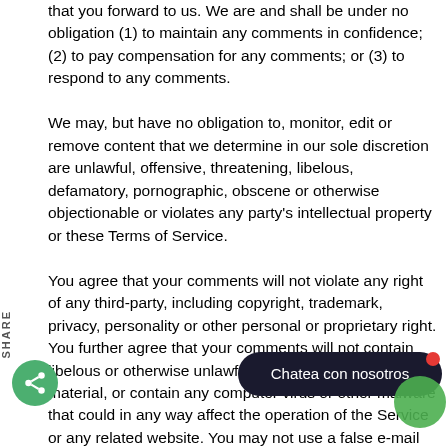that you forward to us. We are and shall be under no obligation (1) to maintain any comments in confidence; (2) to pay compensation for any comments; or (3) to respond to any comments.
We may, but have no obligation to, monitor, edit or remove content that we determine in our sole discretion are unlawful, offensive, threatening, libelous, defamatory, pornographic, obscene or otherwise objectionable or violates any party's intellectual property or these Terms of Service.
You agree that your comments will not violate any right of any third-party, including copyright, trademark, privacy, personality or other personal or proprietary right. You further agree that your comments will not contain libelous or otherwise unlawful, abusive or obscene material, or contain any computer virus or other malware that could in any way affect the operation of the Service or any related website. You may not use a false e-mail address, pretend to be someone other than yourself, otherwise mislead us or third-parties as to the origin of any comments. You are solely responsible for any comments you make and their accuracy. We take no responsibility and